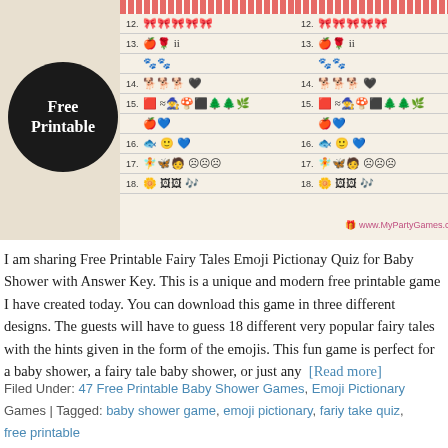[Figure (photo): Screenshot of Free Printable Fairy Tales Emoji Pictionary game cards with a 'Free Printable' badge overlaid on the left, and two printed game cards showing numbered emoji sequences on lined paper background, with MyPartyGames.com watermark.]
I am sharing Free Printable Fairy Tales Emoji Pictionay Quiz for Baby Shower with Answer Key. This is a unique and modern free printable game I have created today. You can download this game in three different designs. The guests will have to guess 18 different very popular fairy tales with the hints given in the form of the emojis. This fun game is perfect for a baby shower, a fairy tale baby shower, or just any  [Read more]
Filed Under: 47 Free Printable Baby Shower Games, Emoji Pictionary Games | Tagged: baby shower game, emoji pictionary, fariy take quiz, free printable